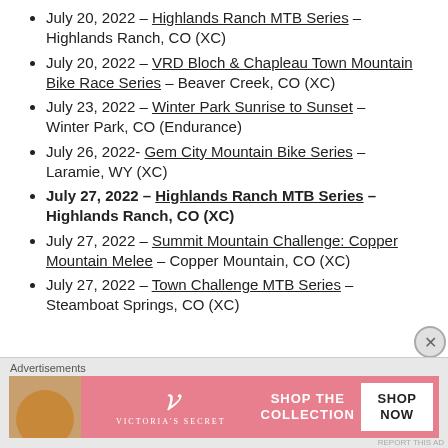July 20, 2022 – Highlands Ranch MTB Series – Highlands Ranch, CO (XC)
July 20, 2022 – VRD Bloch & Chapleau Town Mountain Bike Race Series – Beaver Creek, CO (XC)
July 23, 2022 – Winter Park Sunrise to Sunset – Winter Park, CO (Endurance)
July 26, 2022- Gem City Mountain Bike Series – Laramie, WY (XC)
July 27, 2022 – Highlands Ranch MTB Series – Highlands Ranch, CO (XC)
July 27, 2022 – Summit Mountain Challenge: Copper Mountain Melee – Copper Mountain, CO (XC)
July 27, 2022 – Town Challenge MTB Series – Steamboat Springs, CO (XC)
Advertisements
[Figure (other): Victoria's Secret advertisement banner with model, VS logo, 'SHOP THE COLLECTION', and 'SHOP NOW' button]